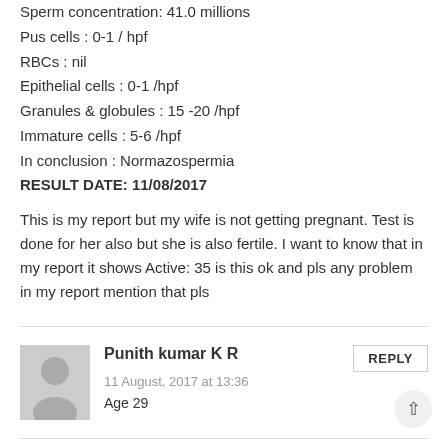Sperm concentration: 41.0 millions
Pus cells : 0-1 / hpf
RBCs : nil
Epithelial cells : 0-1 /hpf
Granules & globules : 15 -20 /hpf
Immature cells : 5-6 /hpf
In conclusion : Normazospermia
RESULT DATE: 11/08/2017
This is my report but my wife is not getting pregnant. Test is done for her also but she is also fertile. I want to know that in my report it shows Active: 35 is this ok and pls any problem in my report mention that pls
Punith kumar K R
11 August, 2017 at 13:36
Age 29
Dr. Marisa López-Teijón
14 August, 2017 at 9:35
Dear Punith kumar,